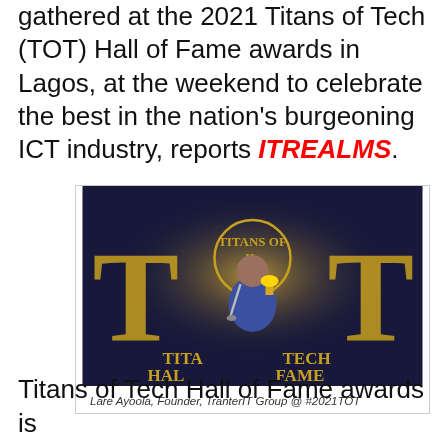gathered at the 2021 Titans of Tech (TOT) Hall of Fame awards in Lagos, at the weekend to celebrate the best in the nation's burgeoning ICT industry, reports ITREALMS.
[Figure (photo): Lare Ayoola, Founder of TranterIT Group, holding a trophy and microphone at the 2021 Titans of Tech Hall of Fame awards event, standing in front of a backdrop that reads TITANS OF TECH HALL OF FAME with a TOT logo.]
Lare Ayoola, Founder, TranterIT Group @ #2021TOT
Titans of Tech Hall of Fame awards is